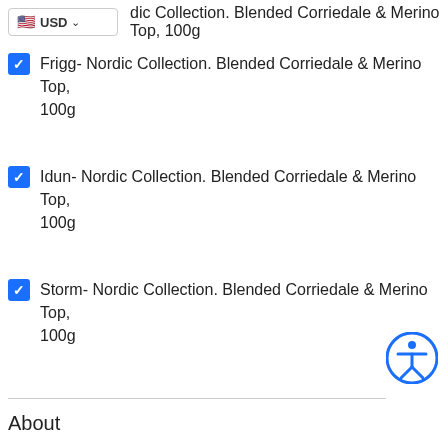Nordic Collection. Blended Corriedale & Merino Top, 100g (partially visible, checked)
Frigg- Nordic Collection. Blended Corriedale & Merino Top, 100g (checked)
Idun- Nordic Collection. Blended Corriedale & Merino Top, 100g (checked)
Storm- Nordic Collection. Blended Corriedale & Merino Top, 100g (checked)
[Figure (other): Accessibility icon - blue circle with white person/figure symbol]
About
Hilltop Cloud- Spin Different
Beautiful fibre you'll love to work with.
Established 2011
VAT Reg- GB209 4066 19
[Figure (other): Social media icons: Twitter, Facebook, Instagram, Pinterest (grey)]